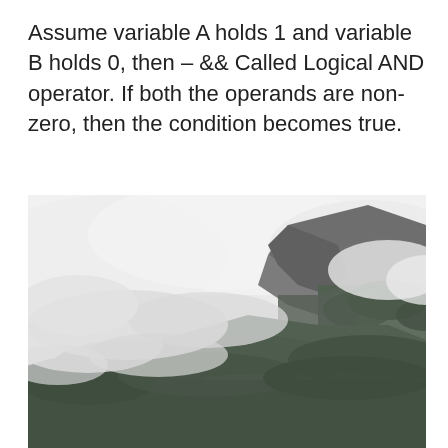Assume variable A holds 1 and variable B holds 0, then – && Called Logical AND operator. If both the operands are non-zero, then the condition becomes true.
[Figure (photo): Aerial black and white photograph of a mountain peak partially obscured by low clouds and mist, with dense evergreen forest covering the slopes.]